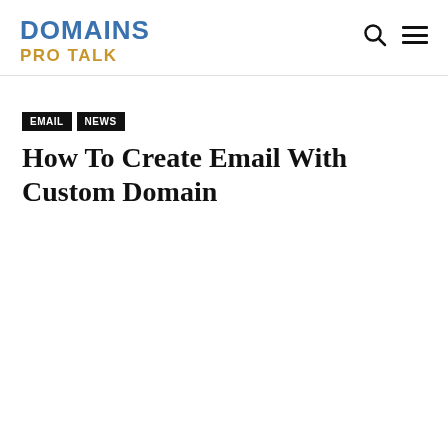DOMAINS PRO TALK
EMAIL | NEWS
How To Create Email With Custom Domain